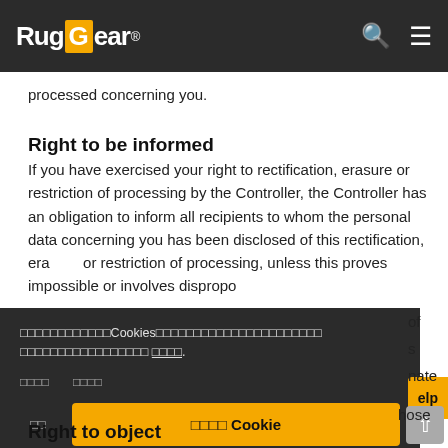RugGear®
processed concerning you.
Right to be informed
If you have exercised your right to rectification, erasure or restriction of processing by the Controller, the Controller has an obligation to inform all recipients to whom the personal data concerning you has been disclosed of this rectification, erasure or restriction of processing, unless this proves impossible or involves disproportionate
[Figure (screenshot): Cookie consent overlay with Thai-language text, accept/reject buttons and Cookie button]
Right to object